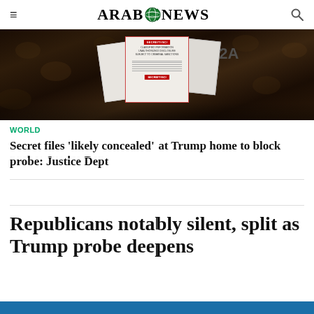ARAB NEWS
[Figure (photo): Photo of classified SECRET/SCI documents laid out on a dark floral-patterned surface, with a label reading '2A' visible]
WORLD
Secret files 'likely concealed' at Trump home to block probe: Justice Dept
Republicans notably silent, split as Trump probe deepens